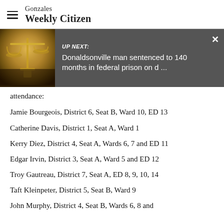Gonzales Weekly Citizen
[Figure (screenshot): UP NEXT banner with image of scales of justice and headline: Donaldsonville man sentenced to 140 months in federal prison on d ...]
attendance:
Jamie Bourgeois, District 6, Seat B, Ward 10, ED 13
Catherine Davis, District 1, Seat A, Ward 1
Kerry Diez, District 4, Seat A, Wards 6, 7 and ED 11
Edgar Irvin, District 3, Seat A, Ward 5 and ED 12
Troy Gautreau, District 7, Seat A, ED 8, 9, 10, 14
Taft Kleinpeter, District 5, Seat B, Ward 9
John Murphy, District 4, Seat B, Wards 6, 8 and